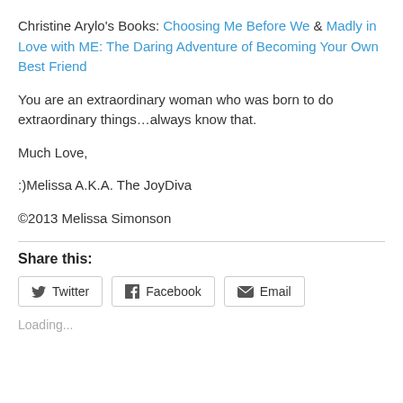Christine Arylo's Books: Choosing Me Before We & Madly in Love with ME: The Daring Adventure of Becoming Your Own Best Friend
You are an extraordinary woman who was born to do extraordinary things…always know that.
Much Love,
:)Melissa A.K.A. The JoyDiva
©2013 Melissa Simonson
Share this:
Twitter  Facebook  Email
Loading...